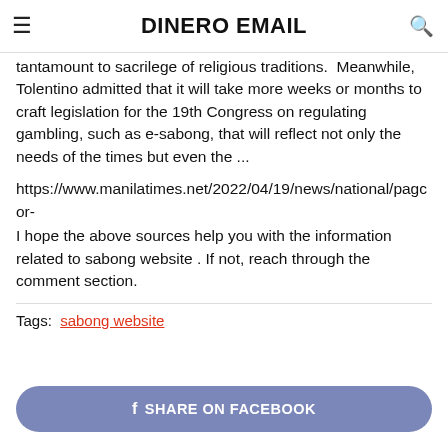DINERO EMAIL
tantamount to sacrilege of religious traditions.  Meanwhile, Tolentino admitted that it will take more weeks or months to craft legislation for the 19th Congress on regulating gambling, such as e-sabong, that will reflect not only the needs of the times but even the ...
https://www.manilatimes.net/2022/04/19/news/national/pagcor-
I hope the above sources help you with the information related to sabong website . If not, reach through the comment section.
Tags:  sabong website